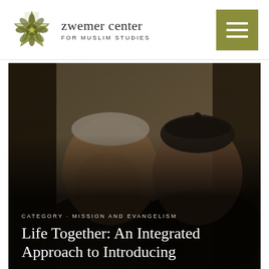[Figure (logo): Zwemer Center for Muslim Studies logo — geometric star/flower icon in olive/gold with text 'zwemer center FOR MUSLIM STUDIES']
[Figure (photo): Black and white photograph of two elderly men smiling, one wearing a white cap and one wearing a dark knit cap, standing together against a stone wall background]
CATEGORY · MISSION AND EVANGELISM
Life Together: An Integrated Approach to Introducing